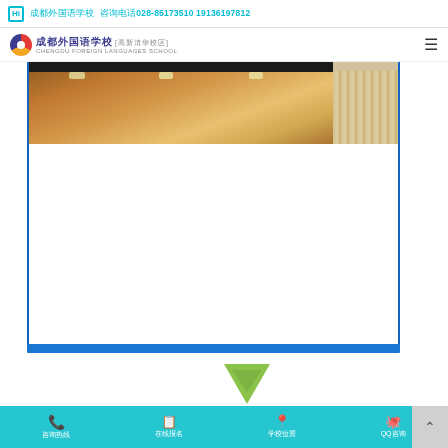Hi 成都外国语学校 咨询电话028-85173510 19136197812
[Figure (logo): 成都外国语学校 高新清华校区 school logo with circular emblem]
[Figure (photo): Interior photo of school building corridor/hall with warm lighting and ceiling]
[Figure (other): Blue horizontal progress bar]
[Figure (other): Green downward arrow icon]
咨询热线 在线报名 学校位置 QQ咨询